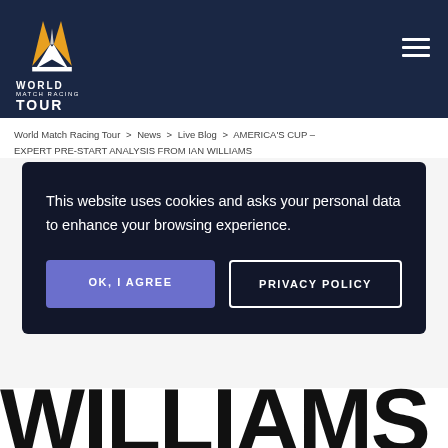[Figure (logo): World Match Racing Tour logo — angular bird/sailboat mark in white and gold on dark navy background, with text WORLD MATCH RACING TOUR below]
World Match Racing Tour > News > Live Blog > AMERICA'S CUP – EXPERT PRE-START ANALYSIS FROM IAN WILLIAMS
This website uses cookies and asks your personal data to enhance your browsing experience.
OK, I AGREE    PRIVACY POLICY
WILLIAMS